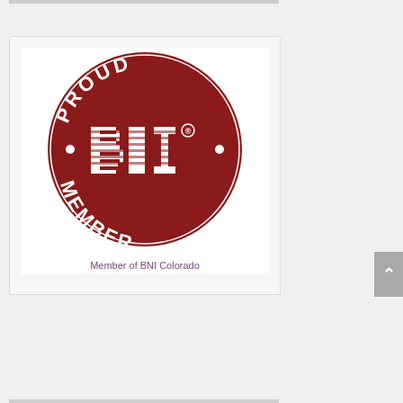[Figure (logo): BNI Proud Member circular badge/seal in dark red (maroon) with white text. The circle reads 'PROUD' along the top arc and 'MEMBER' along the bottom arc, with bullet points on either side of the center. The center features 'BNI' in large bold letters with horizontal line striping effect, and a registered trademark symbol.]
Member of BNI Colorado